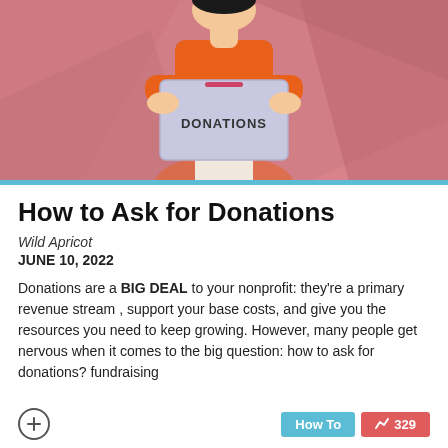[Figure (illustration): Illustrated person in orange shirt holding a gray donation box labeled 'DONATIONS', on a pink geometric background]
How to Ask for Donations
Wild Apricot
JUNE 10, 2022
Donations are a BIG DEAL to your nonprofit: they're a primary revenue stream , support your base costs, and give you the resources you need to keep growing. However, many people get nervous when it comes to the big question: how to ask for donations? fundraising